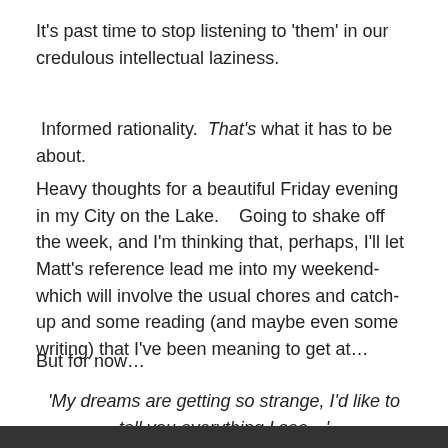It's past time to stop listening to 'them' in our credulous intellectual laziness.
Informed rationality.  That's what it has to be about.
Heavy thoughts for a beautiful Friday evening in my City on the Lake.    Going to shake off the week, and I'm thinking that, perhaps, I'll let Matt's reference lead me into my weekend- which will involve the usual chores and catch-up and some reading (and maybe even some writing) that I've been meaning to get at…
But for now…
'My dreams are getting so strange, I'd like to tell you everything I see…'